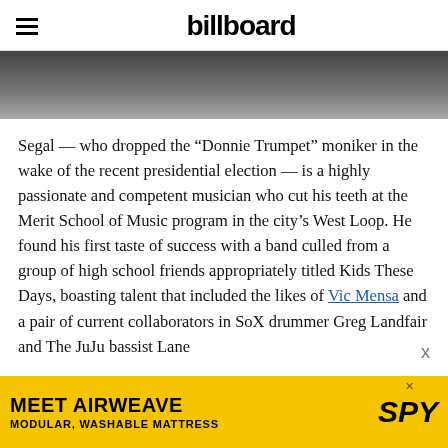billboard
[Figure (photo): Dark grayscale photo strip at top of article, partial view of a dark background]
Segal — who dropped the “Donnie Trumpet” moniker in the wake of the recent presidential election — is a highly passionate and competent musician who cut his teeth at the Merit School of Music program in the city’s West Loop. He found his first taste of success with a band culled from a group of high school friends appropriately titled Kids These Days, boasting talent that included the likes of Vic Mensa and a pair of current collaborators in SoX drummer Greg Landfair and The JuJu bassist Lane
[Figure (other): Advertisement: MEET AIRWEAVE - MODULAR, WASHABLE MATTRESS with SPY logo on yellow background]